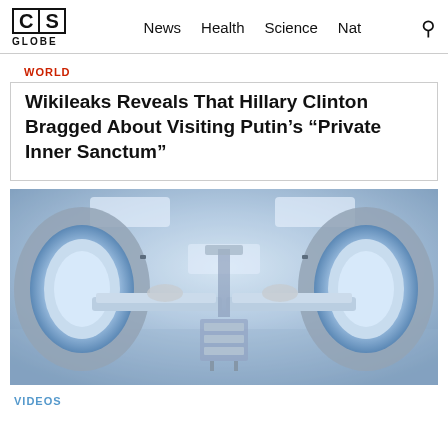CS GLOBE — News | Health | Science | Nat
WORLD
Wikileaks Reveals That Hillary Clinton Bragged About Visiting Putin's “Private Inner Sanctum”
[Figure (photo): Photo of two MRI scanner machines in a clinical room, each with a patient being inserted into the tube. The room has a foggy, blue-tinted atmosphere with a medical cart in the center.]
VIDEOS